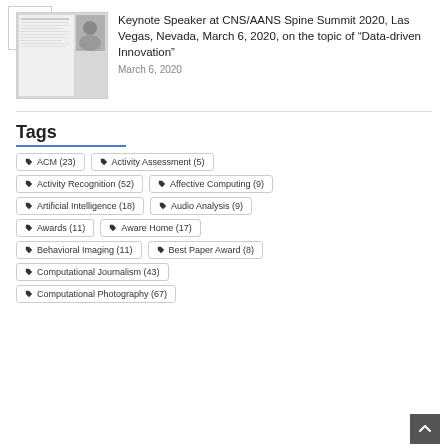[Figure (other): Hamburger menu icon top-left]
Keynote Speaker at CNS/AANS Spine Summit 2020, Las Vegas, Nevada, March 6, 2020, on the topic of “Data-driven Innovation”
March 6, 2020
Tags
ACM (23)
Activity Assessment (5)
Activity Recognition (52)
Affective Computing (9)
Artificial Intelligence (18)
Audio Analysis (9)
Awards (11)
Aware Home (17)
Behavioral Imaging (11)
Best Paper Award (8)
Computational Journalism (43)
Computational Photography (67)